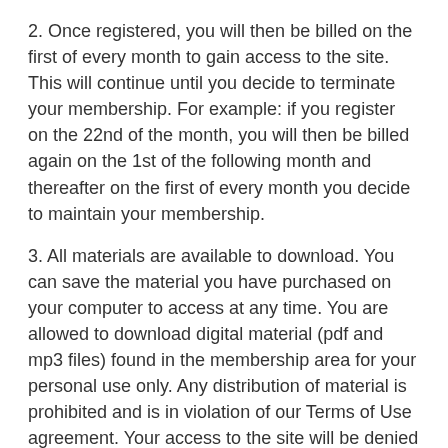2. Once registered, you will then be billed on the first of every month to gain access to the site. This will continue until you decide to terminate your membership. For example: if you register on the 22nd of the month, you will then be billed again on the 1st of the following month and thereafter on the first of every month you decide to maintain your membership.
3. All materials are available to download. You can save the material you have purchased on your computer to access at any time. You are allowed to download digital material (pdf and mp3 files) found in the membership area for your personal use only. Any distribution of material is prohibited and is in violation of our Terms of Use agreement. Your access to the site will be denied if you are found to be in violation of the agreement. No refunds will be given.
4. If you decide to cancel your membership, you will not be billed for the next month. No refunds are given in a current month cycle.
5. Once you terminate your membership, access to the membership site will be denied.